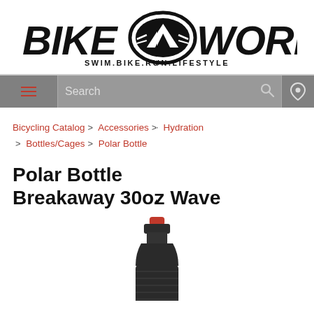[Figure (logo): Bike Works logo with mountain graphic and tagline SWIM.BIKE.RUN.LIFESTYLE]
[Figure (screenshot): Navigation bar with hamburger menu, search box, search icon, and location pin icon]
Bicycling Catalog > Accessories > Hydration > Bottles/Cages > Polar Bottle
Polar Bottle Breakaway 30oz Wave
[Figure (photo): Black insulated water bottle with red cap, Polar Bottle Breakaway 30oz Wave, shown on white background]